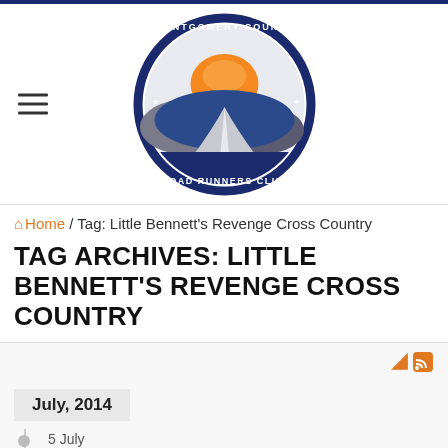[Figure (logo): Montgomery County Road Runners Club circular logo with orange sun, blue hills, and winding road]
Home / Tag: Little Bennett's Revenge Cross Country
TAG ARCHIVES: LITTLE BENNETT'S REVENGE CROSS COUNTRY
July, 2014
5 July
Little Bennett Cross Country 10K
Little Bennett Cross Country 10K Clarksburg, MD 07/05/2014